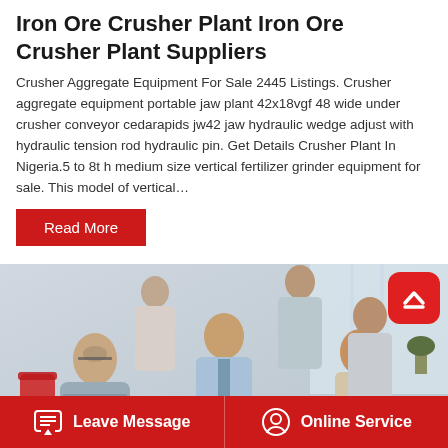Iron Ore Crusher Plant Iron Ore Crusher Plant Suppliers
Crusher Aggregate Equipment For Sale 2445 Listings. Crusher aggregate equipment portable jaw plant 42x18vgf 48 wide under crusher conveyor cedarapids jw42 jaw hydraulic wedge adjust with hydraulic tension rod hydraulic pin. Get Details Crusher Plant In Nigeria.5 to 8t h medium size vertical fertilizer grinder equipment for sale. This model of vertical…
Read More
[Figure (photo): Business meeting photo showing multiple people in professional attire seated around a table with a laptop, engaged in discussion]
Leave Message   Online Service